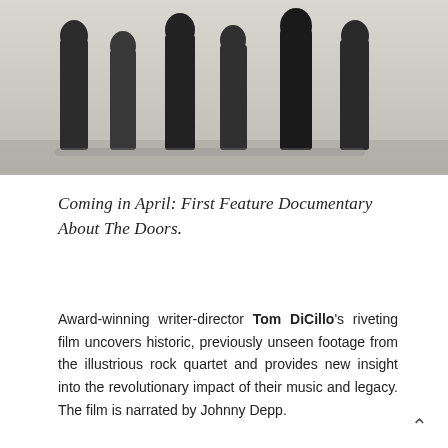[Figure (photo): Black and white photograph showing multiple people walking, cropped to show bodies from waist down, against a light background.]
Coming in April: First Feature Documentary About The Doors.
Award-winning writer-director Tom DiCillo's riveting film uncovers historic, previously unseen footage from the illustrious rock quartet and provides new insight into the revolutionary impact of their music and legacy. The film is narrated by Johnny Depp.